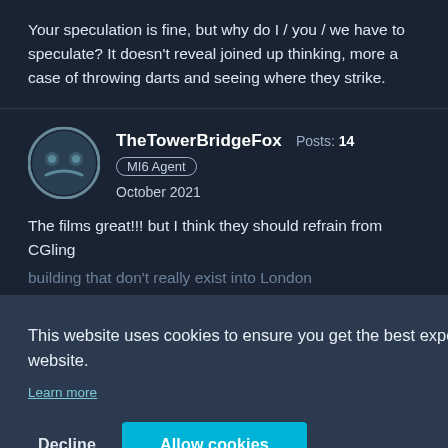Your speculation is fine, but why do I / you / we have to speculate? It doesn't reveal joined up thinking, more a case of throwing darts and seeing where they strike.
TheTowerBridgeFox  Posts: 14  MI6 Agent  October 2021
The films great!!! but I think they should refrain from CGling building that don't really exist into London
This website uses cookies to ensure you get the best experience on our website.
Learn more
Decline
Allow cookies
Share by: